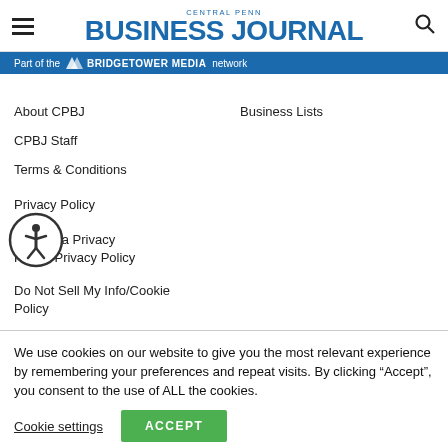Central Penn Business Journal
Part of the BRIDGETOWER MEDIA network
About CPBJ
Business Lists
CPBJ Staff
Terms & Conditions
Privacy Policy
California Privacy Rights/Privacy Policy
Do Not Sell My Info/Cookie Policy
We use cookies on our website to give you the most relevant experience by remembering your preferences and repeat visits. By clicking “Accept”, you consent to the use of ALL the cookies.
Cookie settings   ACCEPT